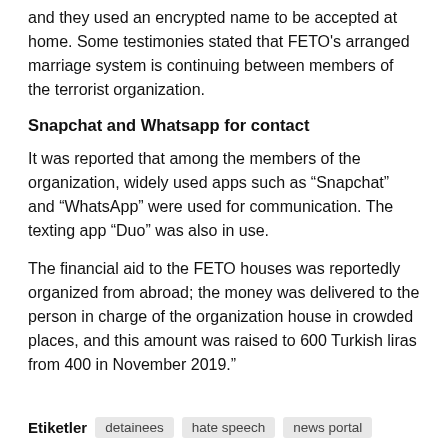and they used an encrypted name to be accepted at home. Some testimonies stated that FETO's arranged marriage system is continuing between members of the terrorist organization.
Snapchat and Whatsapp for contact
It was reported that among the members of the organization, widely used apps such as “Snapchat” and “WhatsApp” were used for communication. The texting app “Duo” was also in use.
The financial aid to the FETO houses was reportedly organized from abroad; the money was delivered to the person in charge of the organization house in crowded places, and this amount was raised to 600 Turkish liras from 400 in November 2019.”
Etiketler  detainees  hate speech  news portal